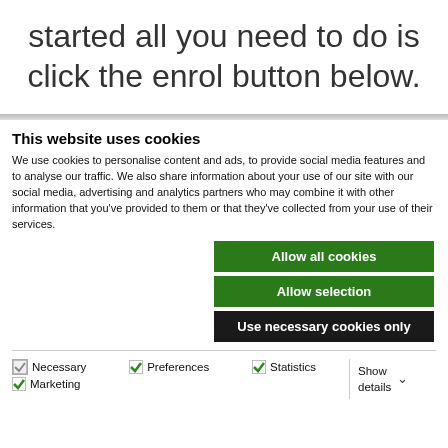started all you need to do is click the enrol button below.
This website uses cookies
We use cookies to personalise content and ads, to provide social media features and to analyse our traffic. We also share information about your use of our site with our social media, advertising and analytics partners who may combine it with other information that you've provided to them or that they've collected from your use of their services.
Allow all cookies
Allow selection
Use necessary cookies only
Necessary  Preferences  Statistics  Marketing  Show details